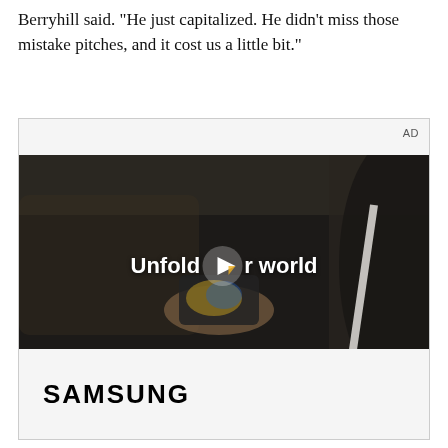Berryhill said. "He just capitalized. He didn't miss those mistake pitches, and it cost us a little bit."
[Figure (screenshot): Advertisement for Samsung featuring a dark video still of a woman in a car holding a foldable phone. Overlaid text reads 'Unfold your world' with a play button icon. Below the video is the Samsung logo on a light gray background. 'AD' label in top right corner.]